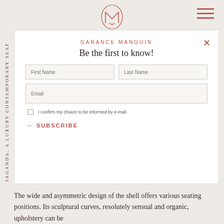[Figure (logo): Garance Manguin brand logo - stylized M/G monogram in outlined red/terracotta circle]
[Figure (other): Hamburger menu icon - three horizontal lines in terracotta/red color]
JAGANDA. A LUXURY CONTEMPORARY SEAT (vertical text on left side)
GARANCE MANGUIN
Be the first to know!
First Name
Last Name
Email
I confirm my choice to be informed by e-mail.
SUBSCRIBE
Jaganda is a luxury lounge chair, ideal as a contemporary furniture piece for a the living room for example.
As an eternal traveller, Babled inspire himself with the local craftmanship, introducing Brazilian seascape into high end interiors.
The wide and asymmetric design of the shell offers various seating positions. Its sculptural curves, resolutely sensual and organic, upholstery can be